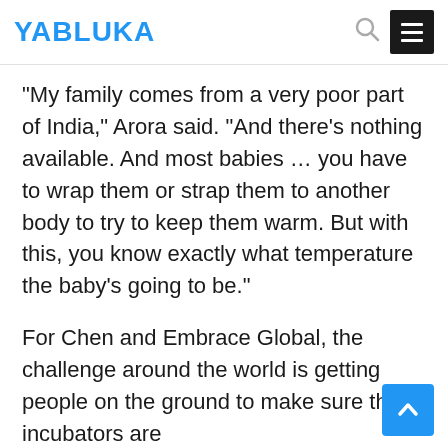YABLUKA
“My family comes from a very poor part of India,” Arora said. “And there’s nothing available. And most babies … you have to wrap them or strap them to another body to try to keep them warm. But with this, you know exactly what temperature the baby’s going to be.”
For Chen and Embrace Global, the challenge around the world is getting people on the ground to make sure the incubators are